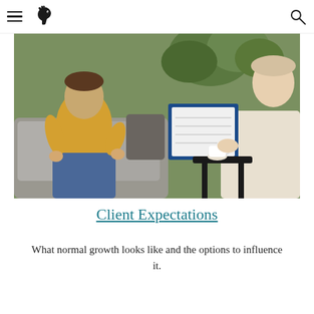[navigation header with hamburger menu, horse logo, and search icon]
[Figure (photo): Two women in a counseling or consulting session seated on sofas. One woman in a yellow/mustard top is seated across from another woman in a cream/white blazer who is holding a clipboard with papers. A small side table with a coffee cup is between them. Plants are visible in the background.]
Client Expectations
What normal growth looks like and the options to influence it.